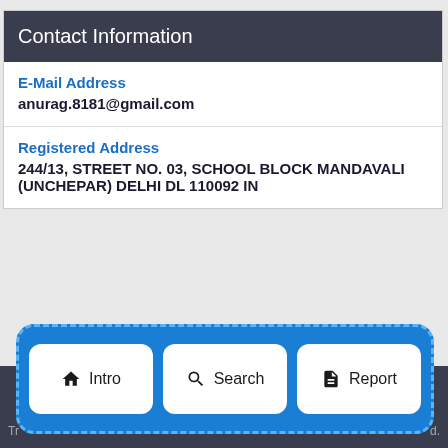Contact Information
E-Mail Address
anurag.8181@gmail.com
Registered Address
244/13, STREET NO. 03, SCHOOL BLOCK MANDAVALI (UNCHEPAR) DELHI DL 110092 IN
[Figure (screenshot): Navigation bar with three buttons: Intro (home icon), Search (magnifying glass icon), Report (document icon), overlaid on a dark footer bar with a blue dashed rounded rectangle highlight.]